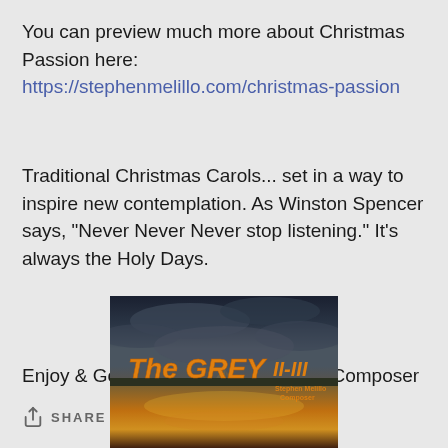You can preview much more about Christmas Passion here: https://stephenmelillo.com/christmas-passion
Traditional Christmas Carols... set in a way to inspire new contemplation. As Winston Spencer says, "Never Never Never stop listening." It's always the Holy Days.
Enjoy & Godspeed! Stephen Melillo, Composer
SHARE
[Figure (photo): Album cover image for 'The GREY II-III' by Stephen Melillo, Composer. Shows a dramatic landscape with stormy sky, lake reflection, and bold orange/gold text.]